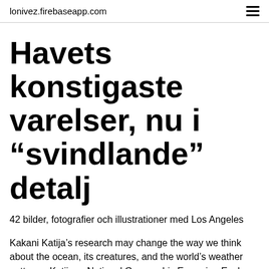lonivez.firebaseapp.com
Havets konstigaste varelser, nu i "svindlande" detalj
42 bilder, fotografier och illustrationer med Los Angeles
Kakani Katija’s research may change the way we think about the ocean, its creatures, and the world’s weather patterns. Katija, a National Geographic Emerging Explorer, is researching ocean mixing,